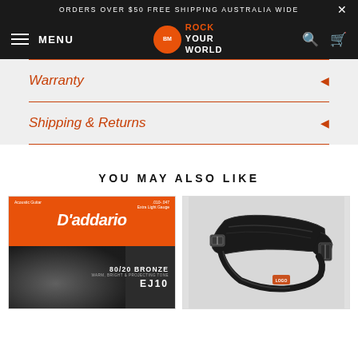ORDERS OVER $50 FREE SHIPPING AUSTRALIA WIDE
[Figure (screenshot): Navigation bar with hamburger menu, MENU text, BM Rock Your World logo, search icon, and cart icon on dark background]
Warranty
Shipping & Returns
YOU MAY ALSO LIKE
[Figure (photo): D'Addario 80/20 Bronze acoustic guitar strings EJ10 Extra Light Gauge .010-.047 product packaging]
[Figure (photo): Black guitar strap with buckle adjustment hardware]